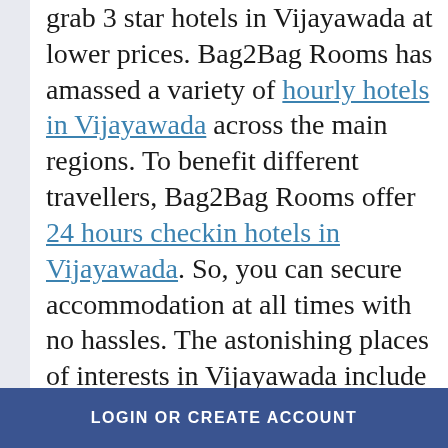grab 3 star hotels in Vijayawada at lower prices. Bag2Bag Rooms has amassed a variety of hourly hotels in Vijayawada across the main regions. To benefit different travellers, Bag2Bag Rooms offer 24 hours checkin hotels in Vijayawada. So, you can secure accommodation at all times with no hassles. The astonishing places of interests in Vijayawada include Undavalli Caves, Kanaka Durga Temple, Bhavani Island, Kondapalli Fort, Besant Road, Victoria Museum, Mogalarajapuram Caves, Amaravathi, Rajiv Gandhi Park, Gandhi Hill, Prakasam Barrage, Mangalgiri, and so on. To add more comfort to your stay, Bag2Bag Rooms offer...
LOGIN OR CREATE ACCOUNT